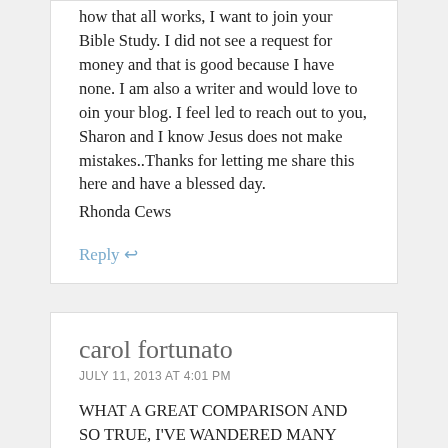how that all works, I want to join your Bible Study. I did not see a request for money and that is good because I have none. I am also a writer and would love to oin your blog. I feel led to reach out to you, Sharon and I know Jesus does not make mistakes..Thanks for letting me share this here and have a blessed day.
Rhonda Cews
Reply ↩
carol fortunato
JULY 11, 2013 AT 4:01 PM
WHAT A GREAT COMPARISON AND SO TRUE, I'VE WANDERED MANY YARD SALES. I THANK GOD HE CHASED ME DOWN TILL HE CAUGHT ME, AND